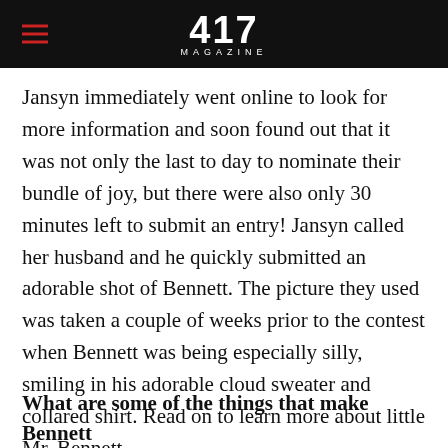417 MAGAZINE
Jansyn immediately went online to look for more information and soon found out that it was not only the last to day to nominate their bundle of joy, but there were also only 30 minutes left to submit an entry! Jansyn called her husband and he quickly submitted an adorable shot of Bennett. The picture they used was taken a couple of weeks prior to the contest when Bennett was being especially silly, smiling in his adorable cloud sweater and collared shirt. Read on to learn more about little Mr. Bennett.
What are some of the things that make Bennett